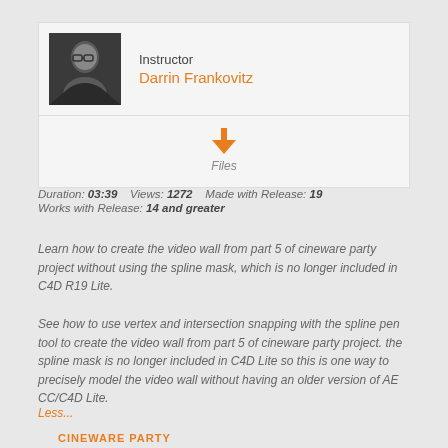[Figure (photo): Black and white photo of instructor Darrin Frankovitz, a man with glasses]
Instructor
Darrin Frankovitz
[Figure (other): Orange download arrow icon with label 'Files']
Duration: 03:39   Views: 1272   Made with Release: 19
Works with Release: 14 and greater
Learn how to create the video wall from part 5 of cineware party project without using the spline mask, which is no longer included in C4D R19 Lite.
See how to use vertex and intersection snapping with the spline pen tool to create the video wall from part 5 of cineware party project. the spline mask is no longer included in C4D Lite so this is one way to precisely model the video wall without having an older version of AE CC/C4D Lite.
Less...
CINEWARE PARTY